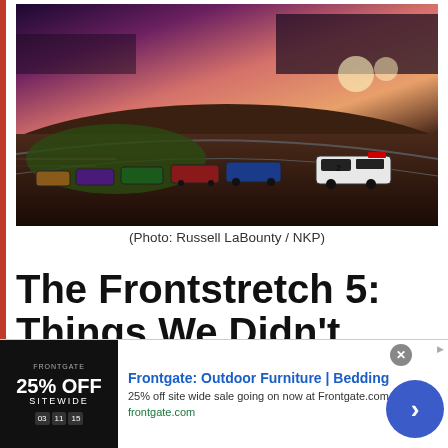[Figure (photo): NASCAR race cars racing on a track at dusk/sunset with colorful sky, car #2 leads in foreground]
(Photo: Russell LaBounty / NKP)
The Frontstretch 5: Things We Didn't Learn at Kentucky
July 12, 2016 By Amy Henderson
[Figure (infographic): Frontgate advertisement: Outdoor Furniture | Bedding, 25% off site wide sale going on now at Frontgate.com, frontgate.com]